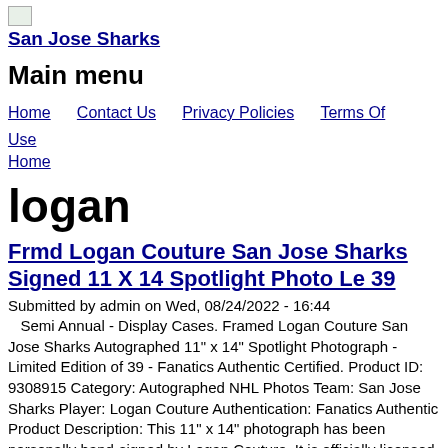Home
San Jose Sharks
Main menu
Home   Contact Us   Privacy Policies   Terms Of Use
Home
logan
Frmd Logan Couture San Jose Sharks Signed 11 X 14 Spotlight Photo Le 39
Submitted by admin on Wed, 08/24/2022 - 16:44
Semi Annual - Display Cases. Framed Logan Couture San Jose Sharks Autographed 11" x 14" Spotlight Photograph - Limited Edition of 39 - Fanatics Authentic Certified. Product ID: 9308915 Category: Autographed NHL Photos Team: San Jose Sharks Player: Logan Couture Authentication: Fanatics Authentic Product Description: This 11" x 14" photograph has been personally hand-signed by Logan Couture. It is officially licensed by the National